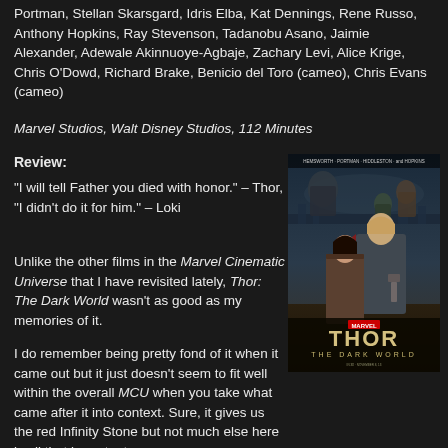Portman, Stellan Skarsgard, Idris Elba, Kat Dennings, Rene Russo, Anthony Hopkins, Ray Stevenson, Tadanobu Asano, Jaimie Alexander, Adewale Akinnuoye-Agbaje, Zachary Levi, Alice Krige, Chris O'Dowd, Richard Brake, Benicio del Toro (cameo), Chris Evans (cameo)
Marvel Studios, Walt Disney Studios, 112 Minutes
Review:
“I will tell Father you died with honor.” – Thor, “I didn’t do it for him.” – Loki
Unlike the other films in the Marvel Cinematic Universe that I have revisited lately, Thor: The Dark World wasn’t as good as my memories of it.
[Figure (photo): Movie poster for Thor: The Dark World showing Thor, Jane Foster, and other characters with the title text 'THOR THE DARK WORLD']
I do remember being pretty fond of it when it came out but it just doesn’t seem to fit well within the overall MCU when you take what came after it into context. Sure, it gives us the red Infinity Stone but not much else here is all that important.